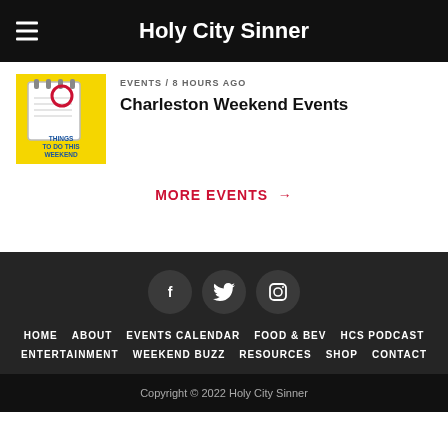Holy City Sinner
EVENTS / 8 hours ago
Charleston Weekend Events
MORE EVENTS →
[Figure (illustration): Social media icons: Facebook, Twitter, Instagram on dark circular backgrounds]
HOME   ABOUT   EVENTS CALENDAR   FOOD & BEV   HCS PODCAST   ENTERTAINMENT   WEEKEND BUZZ   RESOURCES   SHOP   CONTACT
Copyright © 2022 Holy City Sinner